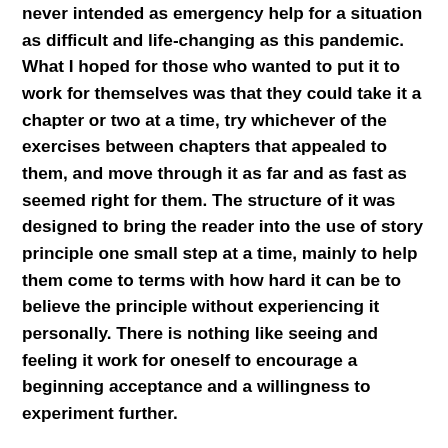never intended as emergency help for a situation as difficult and life-changing as this pandemic. What I hoped for those who wanted to put it to work for themselves was that they could take it a chapter or two at a time, try whichever of the exercises between chapters that appealed to them, and move through it as far and as fast as seemed right for them. The structure of it was designed to bring the reader into the use of story principle one small step at a time, mainly to help them come to terms with how hard it can be to believe the principle without experiencing it personally. There is nothing like seeing and feeling it work for oneself to encourage a beginning acceptance and a willingness to experiment further.
But now, as I think about the possible effects of the current world situation on the highly gifted, highly